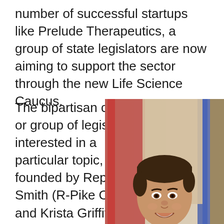number of successful startups like Prelude Therapeutics, a group of state legislators are now aiming to support the sector through the new Life Science Caucus.
The bipartisan caucus, or group of legislators interested in a particular topic, was founded by Reps. Mike Smith (R-Pike Creek) and Krista Griffith (D-Fairfax/Hockessin), who will co-chair the
[Figure (photo): Professional headshot of a smiling young man in a dark suit and blue striped tie, with American flags and a state flag in the background.]